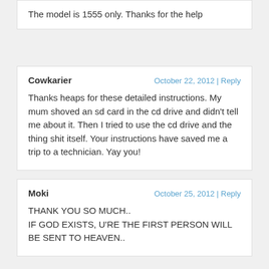The model is 1555 only. Thanks for the help
Cowkarier
October 22, 2012 | Reply
Thanks heaps for these detailed instructions. My mum shoved an sd card in the cd drive and didn't tell me about it. Then I tried to use the cd drive and the thing shit itself. Your instructions have saved me a trip to a technician. Yay you!
Moki
October 25, 2012 | Reply
THANK YOU SO MUCH..
IF GOD EXISTS, U'RE THE FIRST PERSON WILL BE SENT TO HEAVEN..